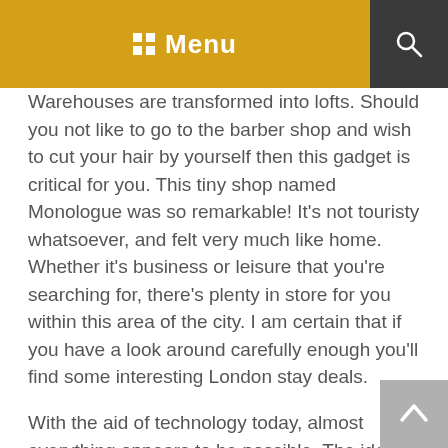Menu
Warehouses are transformed into lofts. Should you not like to go to the barber shop and wish to cut your hair by yourself then this gadget is critical for you. This tiny shop named Monologue was so remarkable! It's not touristy whatsoever, and felt very much like home. Whether it's business or leisure that you're searching for, there's plenty in store for you within this area of the city. I am certain that if you have a look around carefully enough you'll find some interesting London stay deals.
With the aid of technology today, almost everything appears to be possible. The ideal day to learn more about the marketplace is on Sunday (9am-11pm). Thus you are saving a great quantity of time. It is completely feasible to visit three unique places in 1 night, have an outstanding time instead of even leave Hoxton Square. Compare all the packages offered and price ranges provided by every one of